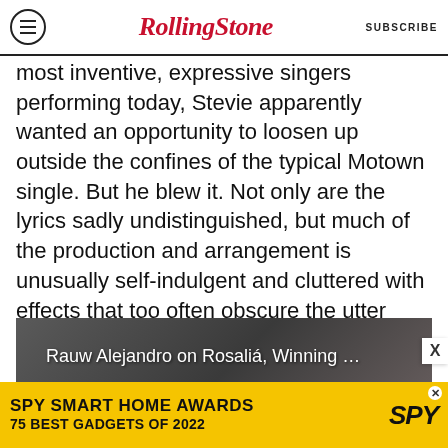RollingStone | SUBSCRIBE
most inventive, expressive singers performing today, Stevie apparently wanted an opportunity to loosen up outside the confines of the typical Motown single. But he blew it. Not only are the lyrics sadly undistinguished, but much of the production and arrangement is unusually self-indulgent and cluttered with effects that too often obscure the utter virtuosity of Wonder’s singing.
Popular on Rolling Stone
[Figure (screenshot): Video thumbnail showing Rauw Alejandro, dark background, text overlay reading 'Rauw Alejandro on Rosaliá, Winning …']
[Figure (infographic): Advertisement banner: SPY SMART HOME AWARDS / 75 BEST GADGETS OF 2022 with SPY logo on yellow background]